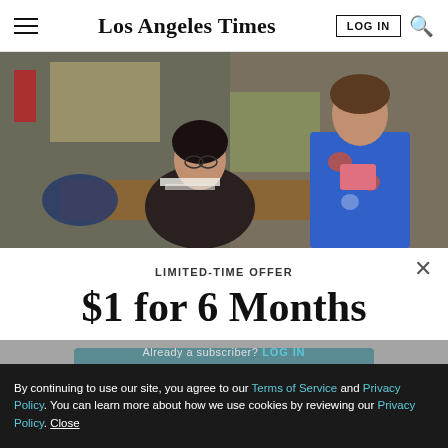Los Angeles Times
[Figure (photo): A woman with glasses sits at a desk and speaks with a young girl in a colorful blue and orange dress in what appears to be an office or classroom setting.]
LIMITED-TIME OFFER
$1 for 6 Months
SUBSCRIBE NOW
By continuing to use our site, you agree to our Terms of Service and Privacy Policy. You can learn more about how we use cookies by reviewing our Privacy Policy. Close
Already a subscriber? LOG IN